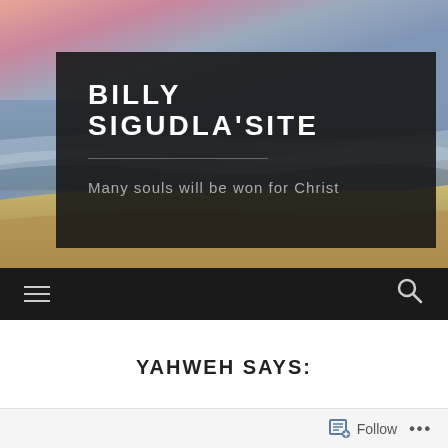[Figure (photo): Beach/ocean scene with warm sunset colors, sandy shore and ocean waves visible]
BILLY SIGUDLA'SITE
Many souls will be won for Christ
[Figure (screenshot): Navigation bar with hamburger menu icon on left and search icon on right, dark background]
YAHWEH SAYS:
Follow ...